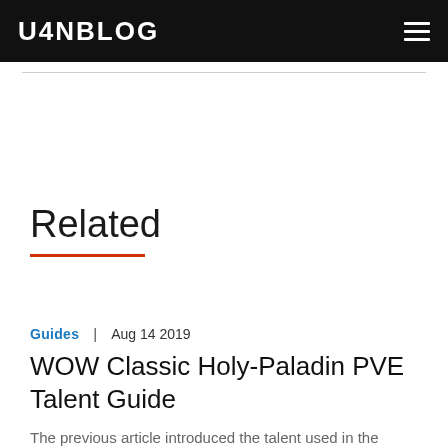U4NBLOG
Related
Guides | Aug 14 2019
WOW Classic Holy-Paladin PVE Talent Guide
The previous article introduced the talent used in the Paladin